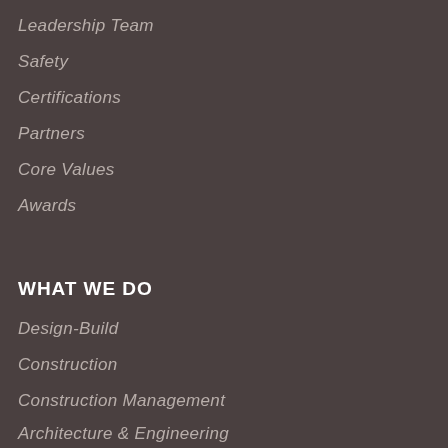Leadership Team
Safety
Certifications
Partners
Core Values
Awards
WHAT WE DO
Design-Build
Construction
Construction Management
Architecture & Engineering